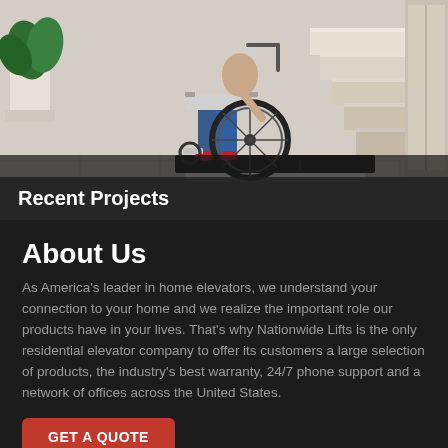[Figure (photo): Person in a wheelchair on a stair lift platform at the base of stairs, with a potted plant and elevator doors visible in the background. The platform is a flat black mat on a white mechanical base.]
Recent Projects
About Us
As America's leader in home elevators, we understand your connection to your home and we realize the important role our products have in your lives. That's why Nationwide Lifts is the only residential elevator company to offer its customers a large selection of products, the industry's best warranty, 24/7 phone support and a network of offices across the United States.
GET A QUOTE
Our Products